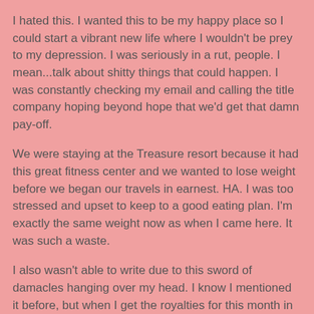I hated this.  I wanted this to be my happy place so I could start a vibrant new life where I wouldn't be prey to my depression.  I was seriously in a rut, people.  I mean...talk about shitty things that could happen.  I was constantly checking my email and calling the title company hoping beyond hope that we'd get that damn pay-off.
We were staying at the Treasure resort because it had this great fitness center and we wanted to lose weight before we began our travels in earnest.  HA.  I was too stressed and upset to keep to a good eating plan.  I'm exactly the same weight now as when I came here.  It was such a waste.
I also wasn't able to write due to this sword of damacles hanging over my head.  I know I mentioned it before, but when I get the royalties for this month in July it's going to be one heck of a lean month.
Well, everything's change for the better as of Friday!